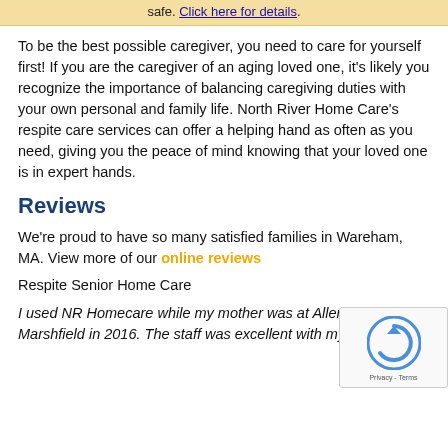safe. Click here for details.
To be the best possible caregiver, you need to care for yourself first! If you are the caregiver of an aging loved one, it's likely you recognize the importance of balancing caregiving duties with your own personal and family life. North River Home Care's respite care services can offer a helping hand as often as you need, giving you the peace of mind knowing that your loved one is in expert hands.
Reviews
We're proud to have so many satisfied families in Wareham, MA. View more of our online reviews
Respite Senior Home Care
I used NR Homecare while my mother was at Allerto... Marshfield in 2016. The staff was excellent with my mother.